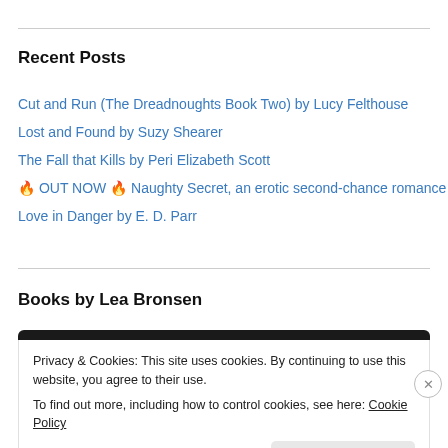Recent Posts
Cut and Run (The Dreadnoughts Book Two) by Lucy Felthouse
Lost and Found by Suzy Shearer
The Fall that Kills by Peri Elizabeth Scott
🔥 OUT NOW 🔥 Naughty Secret, an erotic second-chance romance
Love in Danger by E. D. Parr
Books by Lea Bronsen
Privacy & Cookies: This site uses cookies. By continuing to use this website, you agree to their use.
To find out more, including how to control cookies, see here: Cookie Policy